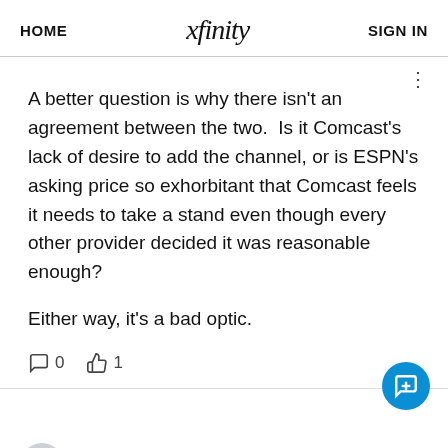HOME   xfinity   SIGN IN
A better question is why there isn't an agreement between the two.  Is it Comcast's lack of desire to add the channel, or is ESPN's asking price so exhorbitant that Comcast feels it needs to take a stand even though every other provider decided it was reasonable enough?

Either way, it's a bad optic.
0  1
bruistopher   2 years ago